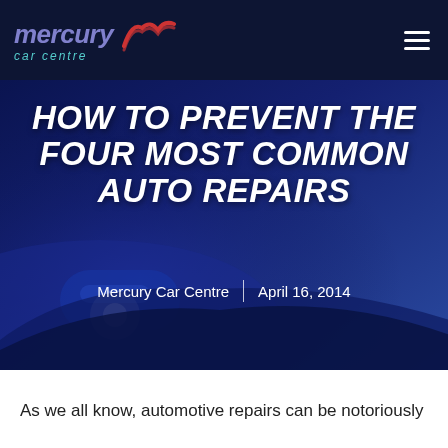mercury car centre
HOW TO PREVENT THE FOUR MOST COMMON AUTO REPAIRS
Mercury Car Centre | April 16, 2014
[Figure (photo): Dark blue hero image showing a car door handle silhouette with a deep blue gradient overlay background]
As we all know, automotive repairs can be notoriously